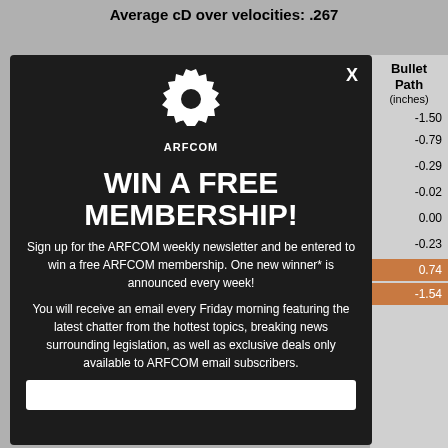Average cD over velocities: .267
| Bullet Path (inches) |
| --- |
| -1.50 |
| -0.79 |
| -0.29 |
| -0.02 |
| 0.00 |
| -0.23 |
| 0.74 |
| -1.54 |
[Figure (other): ARFCOM modal popup - WIN A FREE MEMBERSHIP promotional dialog with logo, text, and email signup input field]
WIN A FREE MEMBERSHIP!
Sign up for the ARFCOM weekly newsletter and be entered to win a free ARFCOM membership. One new winner* is announced every week!
You will receive an email every Friday morning featuring the latest chatter from the hottest topics, breaking news surrounding legislation, as well as exclusive deals only available to ARFCOM email subscribers.